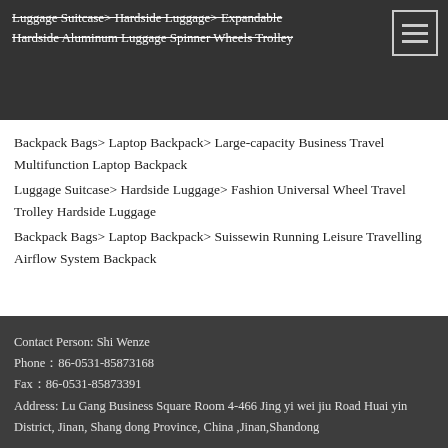Luggage Suitcase> Hardside Luggage> Expandable Hardside Aluminum Luggage Spinner Wheels Trolley
Backpack Bags> Laptop Backpack> Large-capacity Business Travel Multifunction Laptop Backpack
Luggage Suitcase> Hardside Luggage> Fashion Universal Wheel Travel Trolley Hardside Luggage
Backpack Bags> Laptop Backpack> Suissewin Running Leisure Travelling Airflow System Backpack
Contact Person: Shi Wenze
Phone：86-0531-85873168
Fax：86-0531-85873391
Address: Lu Gang Business Square Room 4-466 Jing yi wei jiu Road Huai yin District, Jinan, Shang dong Province, China ,Jinan,Shandong